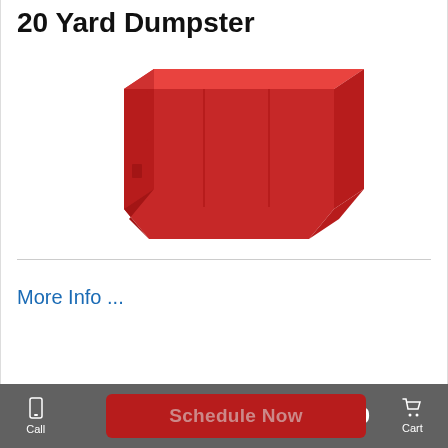20 Yard Dumpster
[Figure (illustration): A red 20-yard roll-off dumpster container shown in 3D perspective view]
More Info ...
Schedule Now
$625.00
Call | Dumpsters | Email | Cart